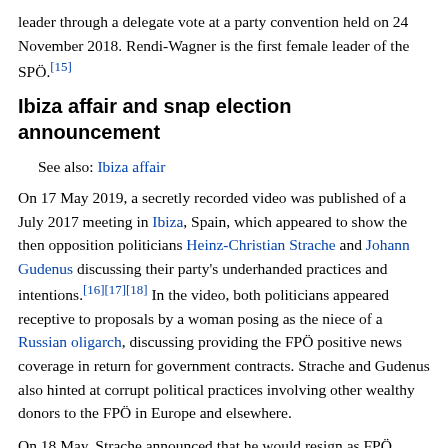leader through a delegate vote at a party convention held on 24 November 2018. Rendi-Wagner is the first female leader of the SPÖ.[15]
Ibiza affair and snap election announcement
See also: Ibiza affair
On 17 May 2019, a secretly recorded video was published of a July 2017 meeting in Ibiza, Spain, which appeared to show the then opposition politicians Heinz-Christian Strache and Johann Gudenus discussing their party's underhanded practices and intentions.[16][17][18] In the video, both politicians appeared receptive to proposals by a woman posing as the niece of a Russian oligarch, discussing providing the FPÖ positive news coverage in return for government contracts. Strache and Gudenus also hinted at corrupt political practices involving other wealthy donors to the FPÖ in Europe and elsewhere.
On 18 May, Strache announced that he would resign as FPÖ leader and vice chancellor, with Norbert Hofer replacing him as FPÖ leader.
On 19 May, Kurz tore up the coalition agreement and announced